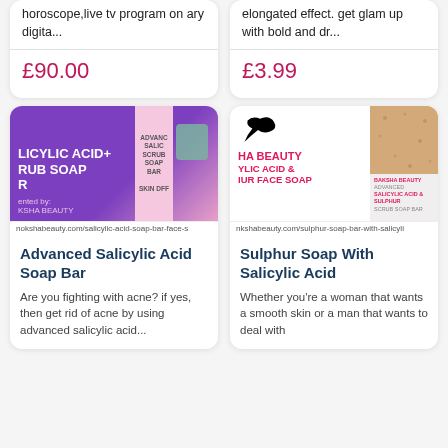Horoscope,live tv program on ary digita...
£90.00
elongated effect. get glam up with bold and dr...
£3.99
[Figure (photo): Salicylic Acid Scrub Soap Bar product image with purple background and pink label]
nokshabeauty.com/salicylic-acid-soap-bar-face-s...
Advanced Salicylic Acid Soap Bar
Are you fighting with acne? if yes, then get rid of acne by using advanced salicylic acid...
[Figure (photo): Sulphur Soap with Salicylic Acid product image with HA Beauty branding and beige soap bar]
nkshabeauty.com/sulphur-soap-bar-with-salicyli...
Sulphur Soap With Salicylic Acid
Whether you're a woman that wants a smooth skin or a man that wants to deal with